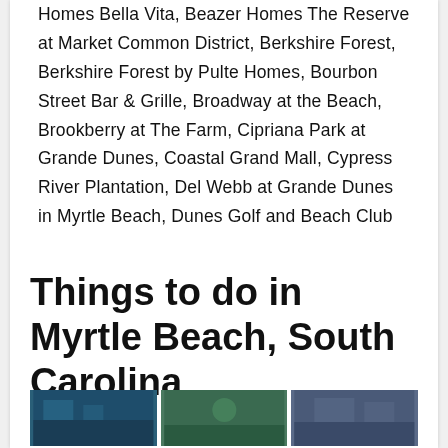Homes Bella Vita, Beazer Homes The Reserve at Market Common District, Berkshire Forest, Berkshire Forest by Pulte Homes, Bourbon Street Bar & Grille, Broadway at the Beach, Brookberry at The Farm, Cipriana Park at Grande Dunes, Coastal Grand Mall, Cypress River Plantation, Del Webb at Grande Dunes in Myrtle Beach, Dunes Golf and Beach Club
Things to do in Myrtle Beach, South Carolina
[Figure (photo): Three thumbnail photos of Myrtle Beach attractions at the bottom of the page]